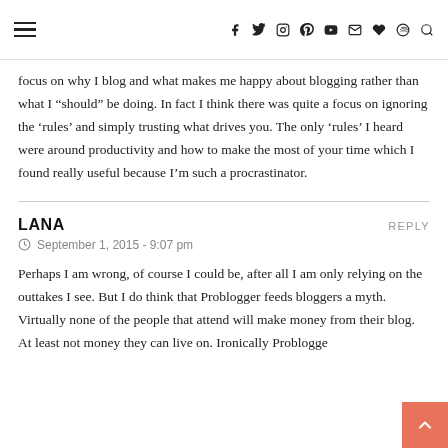[hamburger menu] [social icons: facebook, twitter, instagram, pinterest, youtube, email, heart, spotify, search]
focus on why I blog and what makes me happy about blogging rather than what I “should” be doing. In fact I think there was quite a focus on ignoring the ‘rules’ and simply trusting what drives you. The only ‘rules’ I heard were around productivity and how to make the most of your time which I found really useful because I’m such a procrastinator.
LANA
REPLY
September 1, 2015 - 9:07 pm
Perhaps I am wrong, of course I could be, after all I am only relying on the outtakes I see. But I do think that Problogger feeds bloggers a myth. Virtually none of the people that attend will make money from their blog. At least not money they can live on. Ironically Problogge